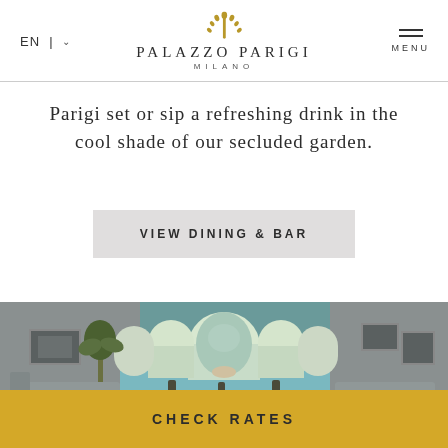EN | PALAZZO PARIGI MILANO MENU
Parigi set or sip a refreshing drink in the cool shade of our secluded garden.
VIEW DINING & BAR
[Figure (photo): Interior spa pool with Moorish arched alcoves in turquoise/green tones, lanterns, and lounge chairs on either side]
CHECK RATES